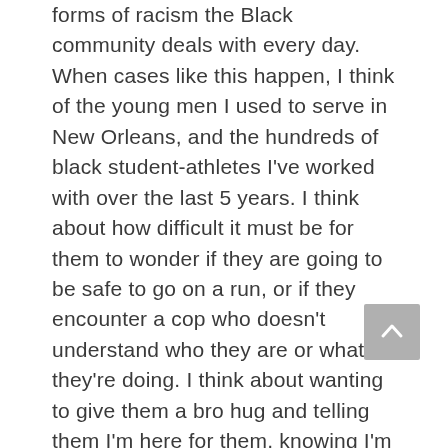forms of racism the Black community deals with every day. When cases like this happen, I think of the young men I used to serve in New Orleans, and the hundreds of black student-athletes I've worked with over the last 5 years. I think about how difficult it must be for them to wonder if they are going to be safe to go on a run, or if they encounter a cop who doesn't understand who they are or what they're doing. I think about wanting to give them a bro hug and telling them I'm here for them, knowing I'm not adequately prepared to deal with how to help them, but wanting to try anyway. I think about wanting to tell them they're safe and this would never happen to them, but not knowing if that's true. All of us have a choice, are you going to be part of the